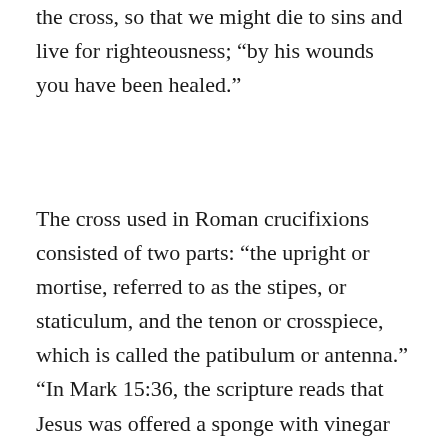the cross, so that we might die to sins and live for righteousness; “by his wounds you have been healed.”
The cross used in Roman crucifixions consisted of two parts: “the upright or mortise, referred to as the stipes, or staticulum, and the tenon or crosspiece, which is called the patibulum or antenna.” “In Mark 15:36, the scripture reads that Jesus was offered a sponge with vinegar stuck to a hyssop